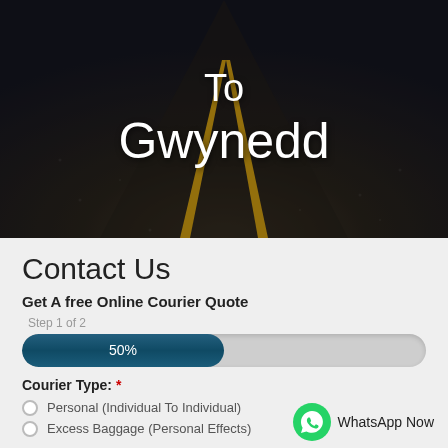[Figure (photo): Dark road with yellow center lines converging to a vanishing point, viewed from above, with overlay text 'To Gwynedd']
To
Gwynedd
Contact Us
Get A free Online Courier Quote
Step 1 of 2
[Figure (infographic): Progress bar showing 50% completion]
Courier Type: *
Personal (Individual To Individual)
Excess Baggage (Personal Effects)
WhatsApp Now